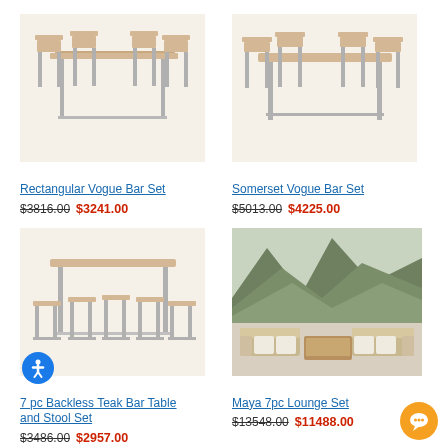[Figure (photo): Rectangular Vogue Bar Set - teak wood bar table with four chairs, metal frame]
Rectangular Vogue Bar Set
$3816.00 $3241.00
[Figure (photo): Somerset Vogue Bar Set - teak wood bar set with chairs around rectangular table, metal frame]
Somerset Vogue Bar Set
$5013.00 $4225.00
[Figure (photo): 7 pc Backless Teak Bar Table and Stool Set - rectangular bar table with six backless stools, metal frame]
7 pc Backless Teak Bar Table and Stool Set
$3486.00 $2957.00
[Figure (photo): Maya 7pc Lounge Set - outdoor sectional lounge set with cushions, mountains in background]
Maya 7pc Lounge Set
$13548.00 $11488.00